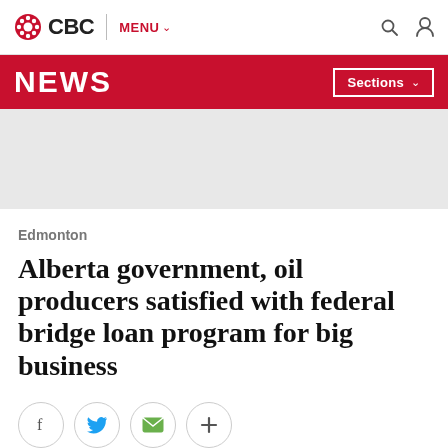CBC | MENU
NEWS | Sections
[Figure (other): Grey advertisement placeholder banner]
Edmonton
Alberta government, oil producers satisfied with federal bridge loan program for big business
[Figure (other): Social share buttons: Facebook, Twitter, Email, More]